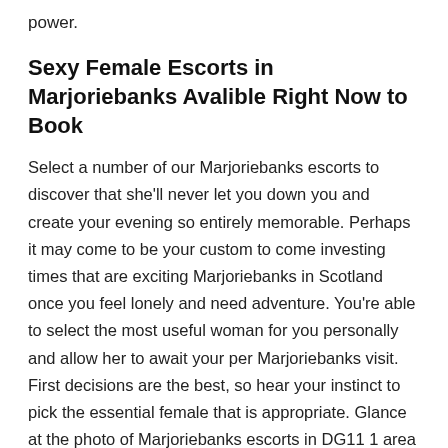power.
Sexy Female Escorts in Marjoriebanks Avalible Right Now to Book
Select a number of our Marjoriebanks escorts to discover that she'll never let you down you and create your evening so entirely memorable. Perhaps it may come to be your custom to come investing times that are exciting Marjoriebanks in Scotland once you feel lonely and need adventure. You're able to select the most useful woman for you personally and allow her to await your per Marjoriebanks visit. First decisions are the best, so hear your instinct to pick the essential female that is appropriate. Glance at the photo of Marjoriebanks escorts in DG11 1 area on the site and browse the explanations to produce a choice that is good. We now have a selection of interesting females